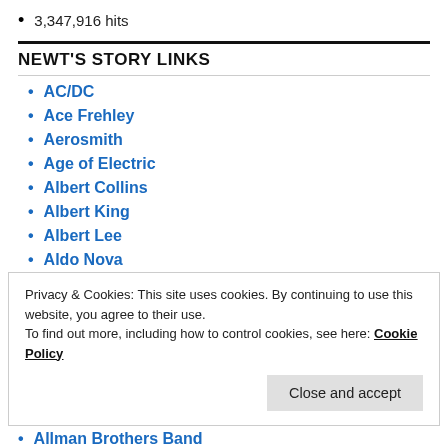3,347,916 hits
NEWT'S STORY LINKS
AC/DC
Ace Frehley
Aerosmith
Age of Electric
Albert Collins
Albert King
Albert Lee
Aldo Nova
Privacy & Cookies: This site uses cookies. By continuing to use this website, you agree to their use. To find out more, including how to control cookies, see here: Cookie Policy
Allman Brothers Band